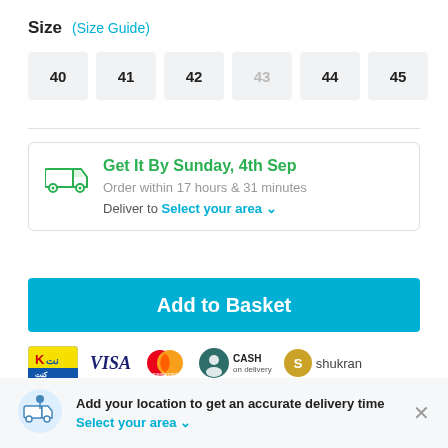Size  (Size Guide)
40
41
42
43
44
45
Get It By Sunday, 4th Sep
Order within 17 hours & 31 minutes
Deliver to Select your area ▾
Add to Basket
[Figure (logo): Payment method logos: K-net, VISA, Mastercard, Cash on delivery, Shukran]
Add your location to get an accurate delivery time
Select your area ▾